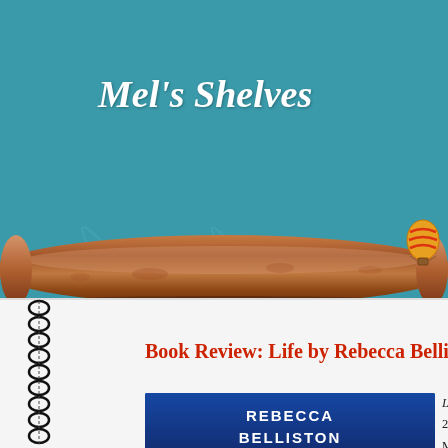Mel's Shelves
[Figure (illustration): Decorative brown rolled scroll/shelf with swirl patterns on teal background, with small hot air balloon icon on right]
[Figure (illustration): Spiral-bound notebook with black coil binding on left side, white page background]
Book Review: Life by Rebecca Belliston
[Figure (photo): Book cover showing 'REBECCA BELLISTON' text on blue background]
Life, by Rebecca Belliston, 2015, 375p, C... My Rating=5 S...